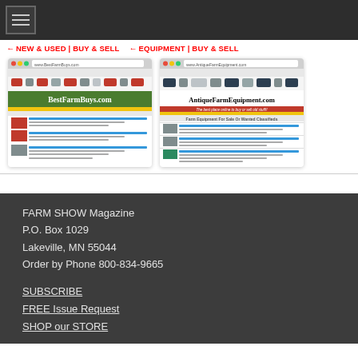[Figure (screenshot): Dark top navigation bar with hamburger menu icon]
NEW & USED | BUY & SELL
EQUIPMENT | BUY & SELL
[Figure (screenshot): Screenshot of BestFarmBuys.com website]
[Figure (screenshot): Screenshot of AntiqueFarmEquipment.com website]
FARM SHOW Magazine
P.O. Box 1029
Lakeville, MN 55044
Order by Phone 800-834-9665
SUBSCRIBE
FREE Issue Request
SHOP our STORE